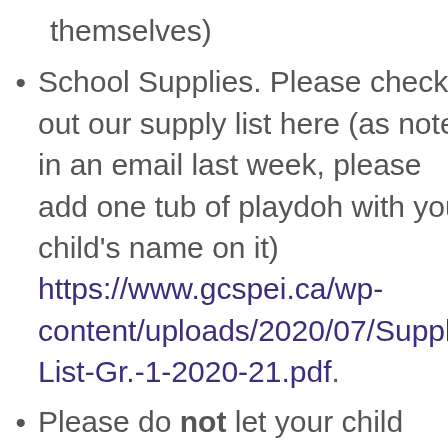themselves)
School Supplies. Please check out our supply list here (as noted in an email last week, please add one tub of playdoh with your child’s name on it) https://www.gcspei.ca/wp-content/uploads/2020/07/Supply-List-Gr.-1-2020-21.pdf.
Please do not let your child bring any stuffed animals or toys from home. Due to Covid 19 we need